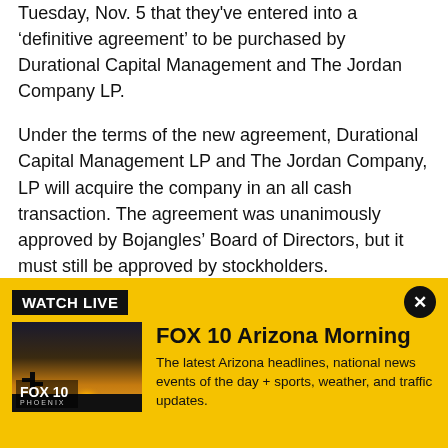Tuesday, Nov. 5 that they've entered into a 'definitive agreement' to be purchased by Durational Capital Management and The Jordan Company LP.
Under the terms of the new agreement, Durational Capital Management LP and The Jordan Company, LP will acquire the company in an all cash transaction. The agreement was unanimously approved by Bojangles' Board of Directors, but it must still be approved by stockholders.
According to the agreement, Bojangles' stockholders will be paid $16.10 per share (the stock closed at $16.01
[Figure (screenshot): FOX 10 Arizona Morning watch live banner with thumbnail showing FOX 10 Phoenix logo on a sunset background. Contains 'WATCH LIVE' label, close button, show title 'FOX 10 Arizona Morning', and description text.]